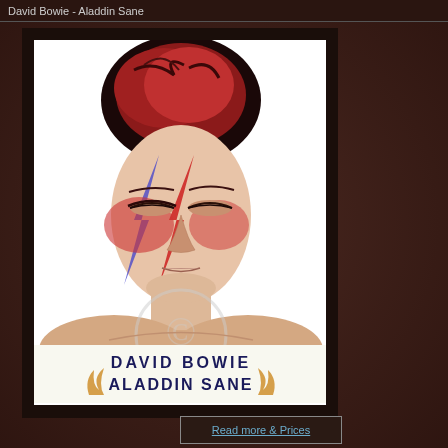David Bowie - Aladdin Sane
[Figure (illustration): Hand-drawn illustration of David Bowie as Aladdin Sane character, showing his face with the iconic red and blue lightning bolt makeup across his face, dark red spiky hair, bare shoulders, with a watermark copyright symbol overlaid. Text at bottom reads 'DAVID BOWIE ALADDIN SANE'.]
Read more & Prices